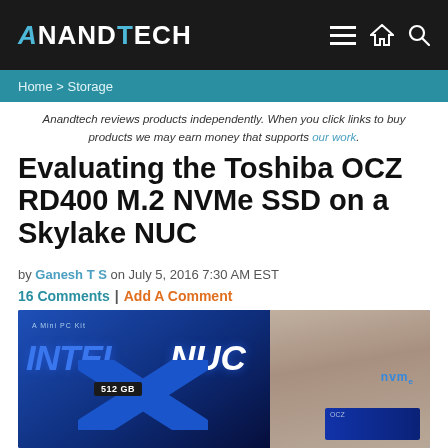AnandTech
Home > Storage
Anandtech reviews products independently. When you click links to buy products we may earn money that supports our work.
Evaluating the Toshiba OCZ RD400 M.2 NVMe SSD on a Skylake NUC
by Ganesh T S on July 5, 2016 7:30 AM EST
16 Comments | Add A Comment
[Figure (photo): Photo of Intel NUC box and Toshiba OCZ RD400 512GB NVMe SSD product boxes on a wooden surface]